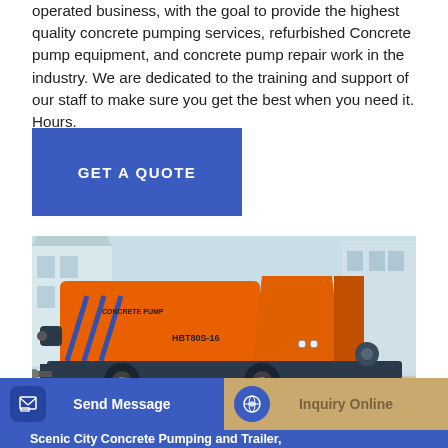operated business, with the goal to provide the highest quality concrete pumping services, refurbished Concrete pump equipment, and concrete pump repair work in the industry. We are dedicated to the training and support of our staff to make sure you get the best when you need it. Hours.
[Figure (other): Blue button labeled GET A QUOTE]
[Figure (photo): Orange concrete pump machine (HBT80S-16) on a trailer, labeled CONCRETE PUMP, parked on a concrete surface with a building in the background.]
[Figure (other): Bottom toolbar with Send Message button (blue, with icon) and Inquiry Online button (tan/gold, with blue circular icon)]
Scenic City Concrete Pumping and Trailer,